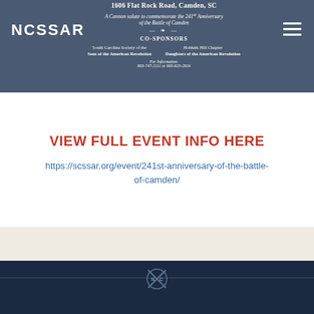NCSSAR
1606 Flat Rock Road, Camden, SC
A Cannon salute to commemorate the 241st Anniversary of the Battle of Camden
CO-SPONSORS
South Carolina Society of the Sons of the American Revolution
Hobkirk Hill Chapter Daughters of the American Revolution
For Information: 803-747-2111 or 803-823-2824
VIEW FULL EVENT INFO HERE
https://scssar.org/event/241st-anniversary-of-the-battle-of-camden/
2022 © North Carolina Society, Sons of the American Revolution